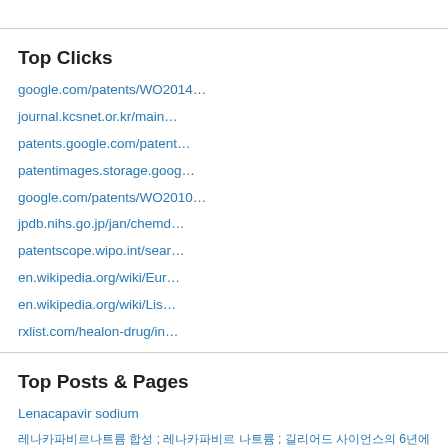Top Clicks
google.com/patents/WO2014…
journal.kcsnet.or.kr/main…
patents.google.com/patent…
patentimages.storage.goog…
google.com/patents/WO2010…
jpdb.nihs.go.jp/jan/chemd…
patentscope.wipo.int/sear…
en.wikipedia.org/wiki/Eur…
en.wikipedia.org/wiki/Lis…
rxlist.com/healon-drug/in…
Top Posts & Pages
Lenacapavir sodium
레나카파비르나트륨 합성 ; 레나카파비르 나트륨 ; 길리어드 사이언스의 6년에 걸쳐 개발된 HIV 치료제 레나카파비르나트륨 합성 ; MULLEIN OIL ;